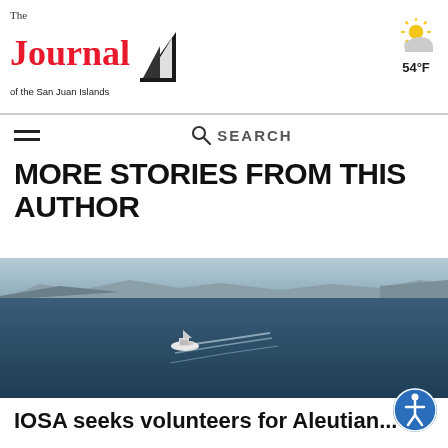The Journal of the San Juan Islands | 54°F
MORE STORIES FROM THIS AUTHOR
[Figure (photo): Aerial view of a boat on dark blue water with islands and mountains in the background]
IOSA seeks volunteers for Aleutian...